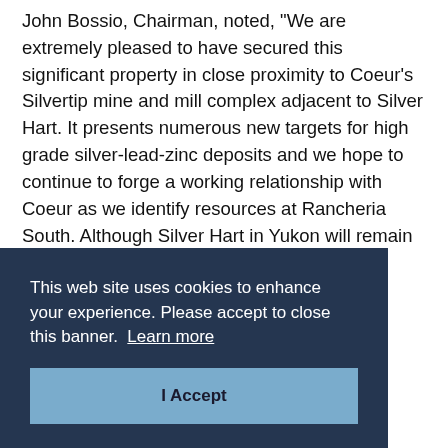John Bossio, Chairman, noted, "We are extremely pleased to have secured this significant property in close proximity to Coeur's Silvertip mine and mill complex adjacent to Silver Hart. It presents numerous new targets for high grade silver-lead-zinc deposits and we hope to continue to forge a working relationship with Coeur as we identify resources at Rancheria South. Although Silver Hart in Yukon will remain our cornerstone project, acquiring Rancheria South offers …ire …y …our …have …or …ject
This web site uses cookies to enhance your experience. Please accept to close this banner. Learn more
I Accept